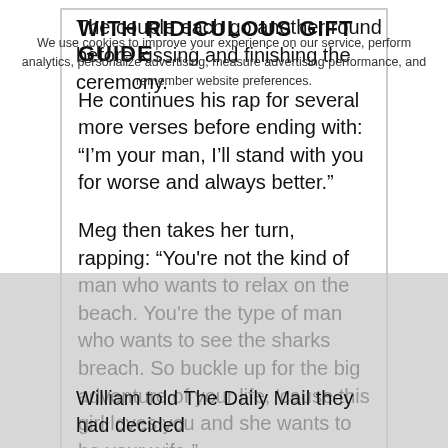WITH RIDICULOUS GIFT GUIDE
He continues his rap for several more verses before ending with: “I’m your man, I’ll stand with you for worse and always better.”
Meg then takes her turn, rapping: “You're not the kind of man who wants to relax on the beach. You're the type of man who wants to see the sharks breach. So buckle up for the big adventure of your life, 'cause this girl loves you and she wants to be your wife.”
The couple each go another round before kissing and finishing the ceremony.
We use cookies to improve your experience on our service, perform analytics, personalize advertising, measure advertising performance, and remember website preferences.
William told The Daily Mail they had decided